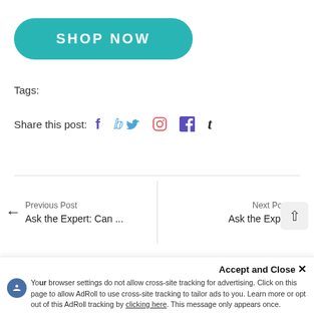[Figure (other): Teal rounded rectangle button with text SHOP NOW in white uppercase letters]
Tags:
Share this post: [facebook] [twitter] [pinterest] [tumblr]
Previous Post
Ask the Expert: Can ...
Next Post
Ask the Exp...
Accept and Close ×
Your browser settings do not allow cross-site tracking for advertising. Click on this page to allow AdRoll to use cross-site tracking to tailor ads to you. Learn more or opt out of this AdRoll tracking by clicking here. This message only appears once.